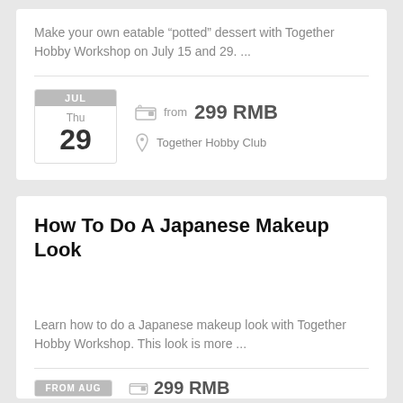Make your own eatable “potted” dessert with Together Hobby Workshop on July 15 and 29. ...
JUL
Thu
29
from 299 RMB
Together Hobby Club
How To Do A Japanese Makeup Look
Learn how to do a Japanese makeup look with Together Hobby Workshop. This look is more ...
FROM AUG
299 RMB